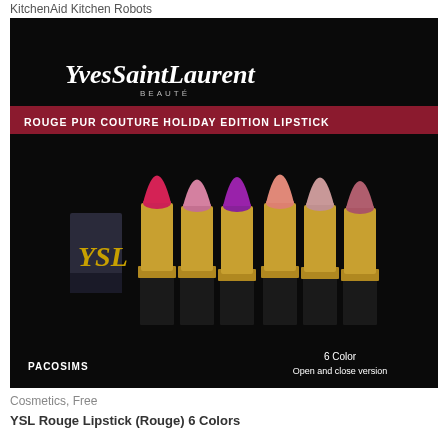KitchenAid Kitchen Robots
[Figure (photo): YSL Yves Saint Laurent Beauté Rouge Pur Couture Holiday Edition Lipstick promotional image showing 6 lipsticks in various shades (pink, mauve, purple, salmon, nude, berry) with black and gold packaging, YSL logo box on left, text '6 Color Open and close version' and 'PACOSIMS' watermark, dark black background.]
Cosmetics, Free
YSL Rouge Lipstick (Rouge) 6 Colors